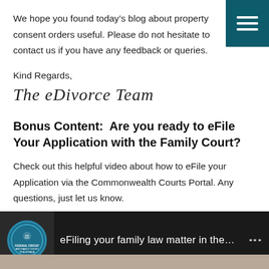We hope you found today’s blog about property consent orders useful. Please do not hesitate to contact us if you have any feedback or queries.
Kind Regards,
The eDivorce Team
Bonus Content:  Are you ready to eFile Your Application with the Family Court?
Check out this helpful video about how to eFile your Application via the Commonwealth Courts Portal. Any questions, just let us know.
[Figure (screenshot): Video thumbnail showing eFiling your family law matter in the Federal Circuit and Family Court of Australia, with the court logo on the left]